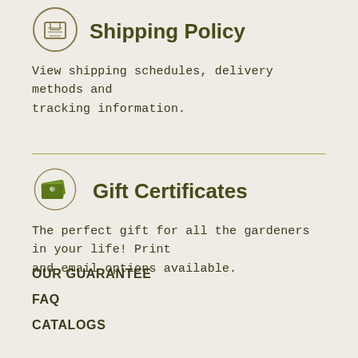[Figure (illustration): Icon of a shipping box inside a circle, brown outline style]
Shipping Policy
View shipping schedules, delivery methods and tracking information.
[Figure (illustration): Icon of gift certificates/cards (green cards with leaf drop symbol) inside a circle]
Gift Certificates
The perfect gift for all the gardeners in your life! Print and email options available.
OUR GUARANTEE
FAQ
CATALOGS